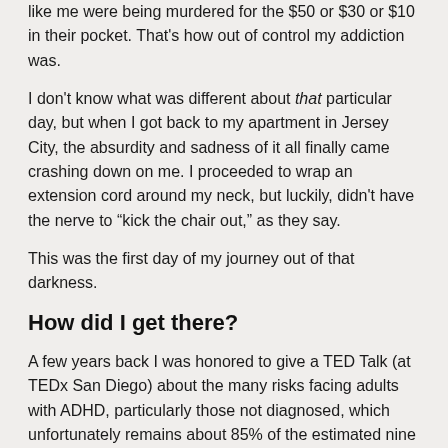like me were being murdered for the $50 or $30 or $10 in their pocket. That's how out of control my addiction was.
I don't know what was different about that particular day, but when I got back to my apartment in Jersey City, the absurdity and sadness of it all finally came crashing down on me. I proceeded to wrap an extension cord around my neck, but luckily, didn't have the nerve to “kick the chair out,” as they say.
This was the first day of my journey out of that darkness.
How did I get there?
A few years back I was honored to give a TED Talk (at TEDx San Diego) about the many risks facing adults with ADHD, particularly those not diagnosed, which unfortunately remains about 85% of the estimated nine million ADHD adults in the USA alone.
I shared the stark statistics about ADHD and alcoholism, drug abuse, and crime, and tallied the costs of ADHD in terms of increased likelihood of depression, anxiety, self-harm, and even suicide.